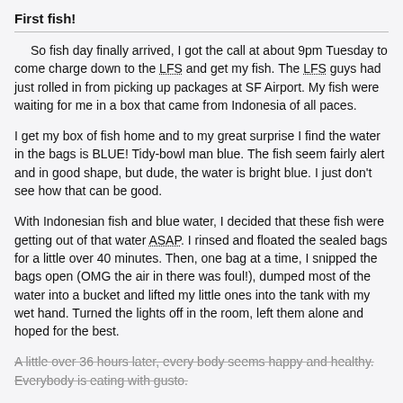First fish!
So fish day finally arrived, I got the call at about 9pm Tuesday to come charge down to the LFS and get my fish. The LFS guys had just rolled in from picking up packages at SF Airport. My fish were waiting for me in a box that came from Indonesia of all paces.
I get my box of fish home and to my great surprise I find the water in the bags is BLUE! Tidy-bowl man blue. The fish seem fairly alert and in good shape, but dude, the water is bright blue. I just don't see how that can be good.
With Indonesian fish and blue water, I decided that these fish were getting out of that water ASAP. I rinsed and floated the sealed bags for a little over 40 minutes. Then, one bag at a time, I snipped the bags open (OMG the air in there was foul!), dumped most of the water into a bucket and lifted my little ones into the tank with my wet hand. Turned the lights off in the room, left them alone and hoped for the best.
A little over 36 hours later, every body seems happy and healthy. Everybody is eating with gusto.